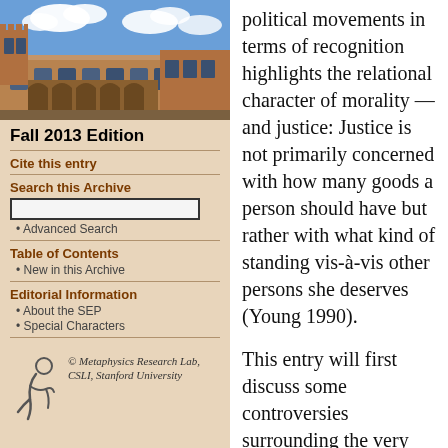[Figure (photo): Photograph of a stone university building with Gothic architecture and blue sky with clouds]
Fall 2013 Edition
Cite this entry
Search this Archive
Advanced Search
Table of Contents
New in this Archive
Editorial Information
About the SEP
Special Characters
[Figure (logo): Metaphysics Research Lab, CSLI, Stanford University logo with stylized figure]
© Metaphysics Research Lab, CSLI, Stanford University
political movements in terms of recognition highlights the relational character of morality —and justice: Justice is not primarily concerned with how many goods a person should have but rather with what kind of standing vis-à-vis other persons she deserves (Young 1990).
This entry will first discuss some controversies surrounding the very concept of recognition (1) before reviewing four dimensions of what is recognized (by whom and on what grounds) that have been highlighted by different theories of recognition (2). However, even in light of these